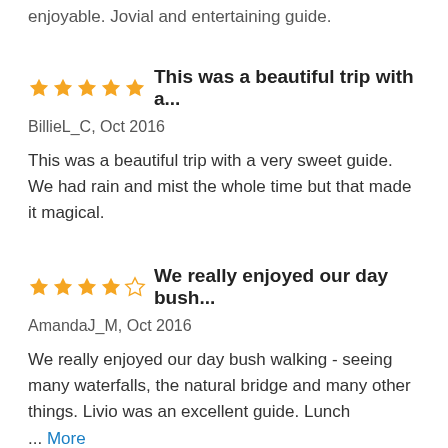enjoyable. Jovial and entertaining guide.
This was a beautiful trip with a...
BillieL_C, Oct 2016
This was a beautiful trip with a very sweet guide. We had rain and mist the whole time but that made it magical.
We really enjoyed our day bush...
AmandaJ_M, Oct 2016
We really enjoyed our day bush walking - seeing many waterfalls, the natural bridge and many other things. Livio was an excellent guide. Lunch ... More